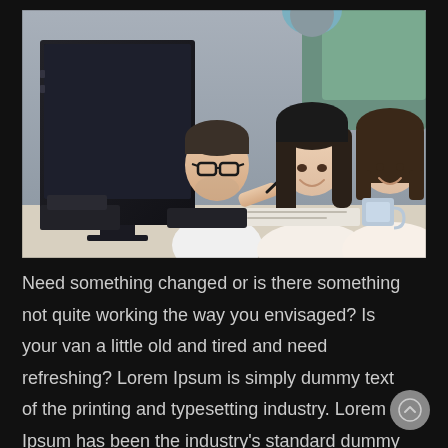[Figure (photo): Photo of a group of young adults (three or four people) gathered around a computer monitor in an office setting, smiling and collaborating. One man with glasses appears to be presenting or pointing at the screen while two women look on happily.]
Need something changed or is there something not quite working the way you envisaged? Is your van a little old and tired and need refreshing? Lorem Ipsum is simply dummy text of the printing and typesetting industry. Lorem Ipsum has been the industry's standard dummy text ever since the 1500s, when an